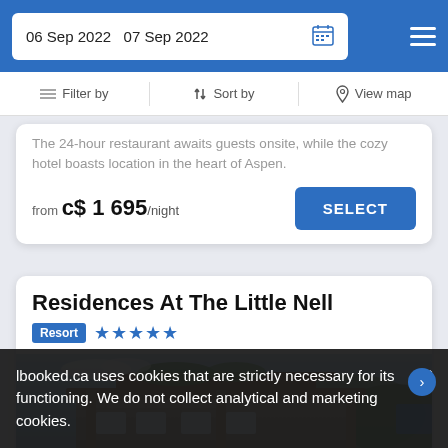06 Sep 2022  07 Sep 2022
Filter by  Sort by  View map
The 24-hour restaurant awaits guests onsite, while the cozy hotel boasts location in the heart of Aspen.
from  c$ 1 695/night
Residences At The Little Nell
Resort  ★★★★★
[Figure (photo): Exterior photo of Residences At The Little Nell, a stone and wood building with balconies against a blue sky with hills in background]
lbooked.ca uses cookies that are strictly necessary for its functioning. We do not collect analytical and marketing cookies.